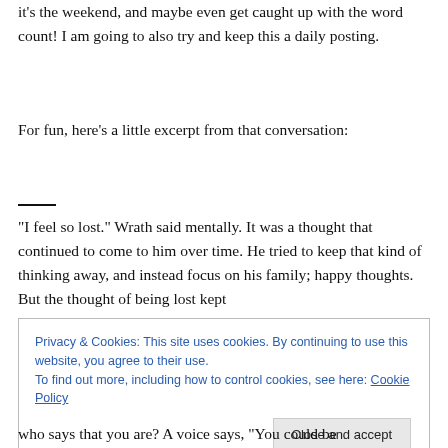it's the weekend, and maybe even get caught up with the word count! I am going to also try and keep this a daily posting.
For fun, here's a little excerpt from that conversation:
—
“I feel so lost.” Wrath said mentally. It was a thought that continued to come to him over time. He tried to keep that kind of thinking away, and instead focus on his family; happy thoughts. But the thought of being lost kept
Privacy & Cookies: This site uses cookies. By continuing to use this website, you agree to their use.
To find out more, including how to control cookies, see here: Cookie Policy
who says that you are? A voice says, “You could be